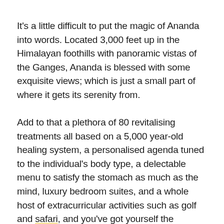It's a little difficult to put the magic of Ananda into words. Located 3,000 feet up in the Himalayan foothills with panoramic vistas of the Ganges, Ananda is blessed with some exquisite views; which is just a small part of where it gets its serenity from.
Add to that a plethora of 80 revitalising treatments all based on a 5,000 year-old healing system, a personalised agenda tuned to the individual's body type, a delectable menu to satisfy the stomach as much as the mind, luxury bedroom suites, and a whole host of extracurricular activities such as golf and safari, and you've got yourself the ingredients for what is commonly known as the best spa in the world.